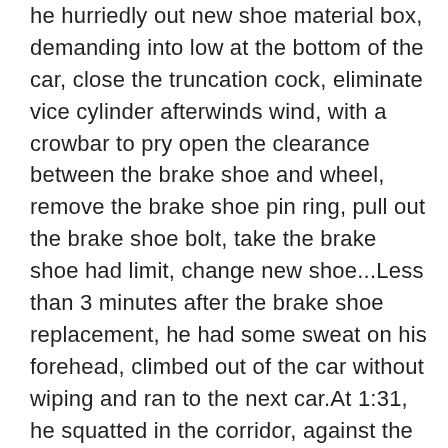he hurriedly out new shoe material box, demanding into low at the bottom of the car, close the truncation cock, eliminate vice cylinder afterwinds wind, with a crowbar to pry open the clearance between the brake shoe and wheel, remove the brake shoe pin ring, pull out the brake shoe bolt, take the brake shoe had limit, change new shoe...Less than 3 minutes after the brake shoe replacement, he had some sweat on his forehead, climbed out of the car without wiping and ran to the next car.At 1:31, he squatted in the corridor, against the biting wind to watch the technical inspection finished train from the side of safety, until the last car passed, ready to return to the waiting room, the intercom came a message that another train is coming to the station to check the car, he tightened the belt of the car inspection tool on his waist and walked quickly to the parking lane.During the Spring Festival travel rush, he will check more than 400 trucks on average, walk nearly 20,000 steps, bend over 2,000 times, lean over 800